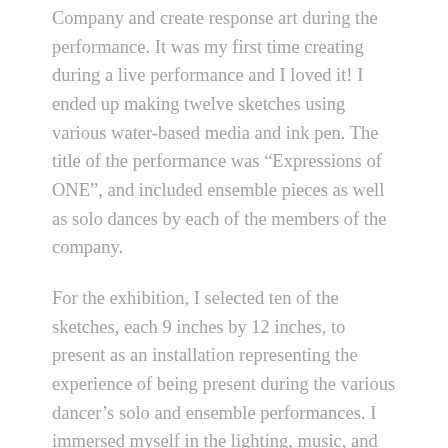Company and create response art during the performance. It was my first time creating during a live performance and I loved it! I ended up making twelve sketches using various water-based media and ink pen. The title of the performance was “Expressions of ONE”, and included ensemble pieces as well as solo dances by each of the members of the company.
For the exhibition, I selected ten of the sketches, each 9 inches by 12 inches, to present as an installation representing the experience of being present during the various dancer’s solo and ensemble performances. I immersed myself in the lighting, music, and movements of the dancers and rapidly created each piece in response to the unique mood created by all of these sensory inputs.
My installation for an installation...